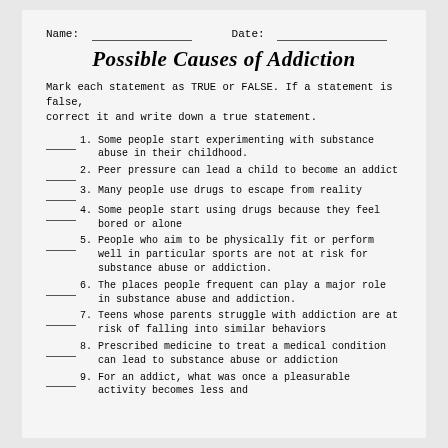Name: ___________________ Date: ___________________
Possible Causes of Addiction
Mark each statement as TRUE or FALSE. If a statement is false, correct it and write down a true statement.
1. Some people start experimenting with substance abuse in their childhood.
2. Peer pressure can lead a child to become an addict
3. Many people use drugs to escape from reality
4. Some people start using drugs because they feel bored or alone
5. People who aim to be physically fit or perform well in particular sports are not at risk for substance abuse or addiction.
6. The places people frequent can play a major role in substance abuse and addiction.
7. Teens whose parents struggle with addiction are at risk of falling into similar behaviors
8. Prescribed medicine to treat a medical condition can lead to substance abuse or addiction
9. For an addict, what was once a pleasurable activity becomes less and